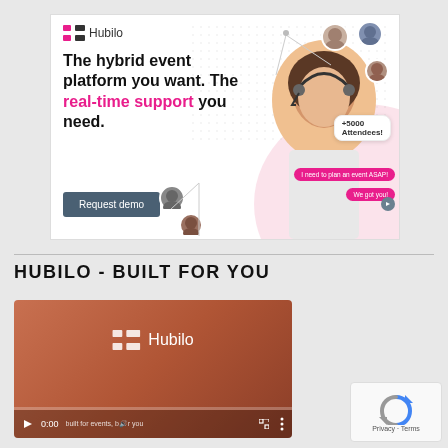[Figure (screenshot): Hubilo advertisement banner showing a woman with headset, text 'The hybrid event platform you want. The real-time support you need.' with a Request demo button, attendee count bubble +5000 Attendees, and chat bubbles.]
HUBILO - BUILT FOR YOU
[Figure (screenshot): Hubilo video player with brownish-red gradient background, Hubilo logo in white, video controls showing play button, 0:00 timestamp, audio icon, fullscreen icon, and three-dot menu. Video progress bar at bottom.]
[Figure (other): reCAPTCHA Privacy - Terms badge in bottom right corner.]